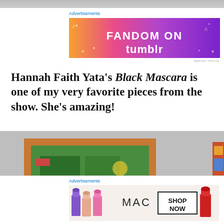[Figure (screenshot): Top gray browser bar strip]
Advertisements
[Figure (illustration): Fandom on Tumblr advertisement banner with colorful gradient background showing orange, pink and purple with decorative icons and text 'FANDOM ON tumblr']
REPORT THIS AD
Hannah Faith Yata's Black Mascara is one of my very favorite pieces from the show. She's amazing!
[Figure (photo): Two colorful, densely illustrated square paintings hung on a gray wall. The left painting is predominantly green and orange with cartoon-like imagery. The right painting is more colorful with reds, blues and yellows in a dense collage style.]
Advertisements
[Figure (illustration): MAC cosmetics advertisement banner showing lipsticks in purple, peach, and pink on the left side, MAC logo text in the center, a black bordered box with SHOP NOW text, and a red lipstick on the right.]